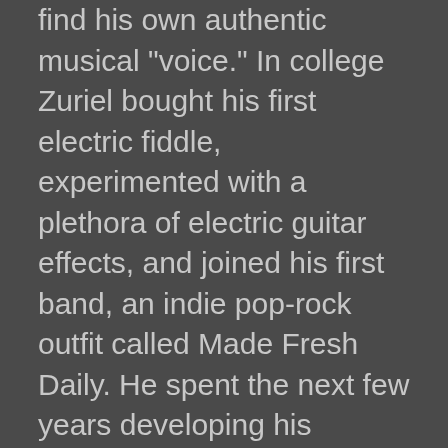find his own authentic musical "voice." In college Zuriel bought his first electric fiddle, experimented with a plethora of electric guitar effects, and joined his first band, an indie pop-rock outfit called Made Fresh Daily. He spent the next few years developing his improvisational abilities and playing musical genres as diverse as classical, jazz, house, country, Celtic, folk, rock, and metal with dozens of outstanding bands and artists in the Dallas-Fort Worth metroplex. After taking on the lead instrumentalist role in a few regionally established acts and